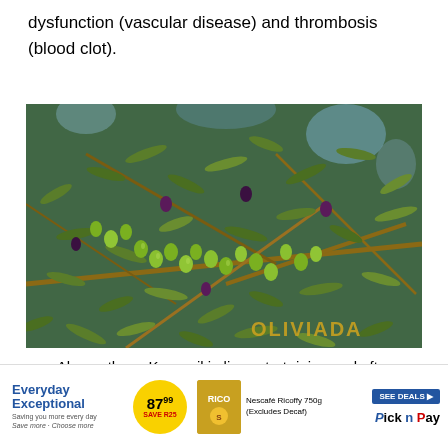dysfunction (vascular disease) and thrombosis (blood clot).
[Figure (photo): Close-up photograph of Koroneiki olive tree branches with green and dark ripening olives, with watermark 'OLIVIADA' in the bottom right corner.]
Above: these Koroneiki olives start riping and after
[Figure (other): Advertisement banner: Everyday Exceptional with price badge 87.99 SAVE R25, Nescafé Ricoffy 750g (Excludes Decaf), SEE DEALS button, Pick n Pay logo]